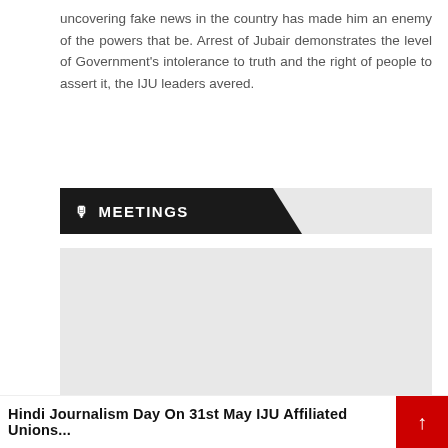uncovering fake news in the country has made him an enemy of the powers that be. Arrest of Jubair demonstrates the level of Government's intolerance to truth and the right of people to assert it, the IJU leaders avered.
MEETINGS
[Figure (other): Large grey placeholder image area for a meetings-related photograph or embed]
[Figure (infographic): COVID-19 Cases widget showing India Cases 4.28 Cr., Powered By Unibots]
Hindi Journalism Day On 31st May IJU Affiliated Unions...